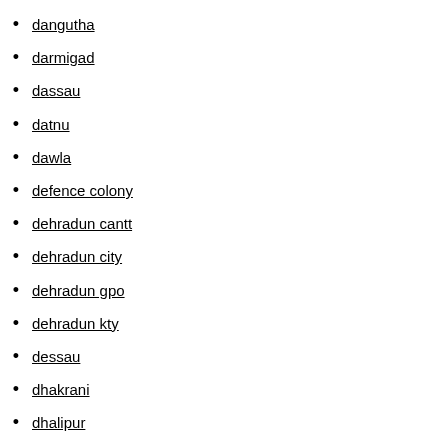dangutha
darmigad
dassau
datnu
dawla
defence colony
dehradun cantt
dehradun city
dehradun gpo
dehradun kty
dessau
dhakrani
dhalipur
dhanyari
dharkot